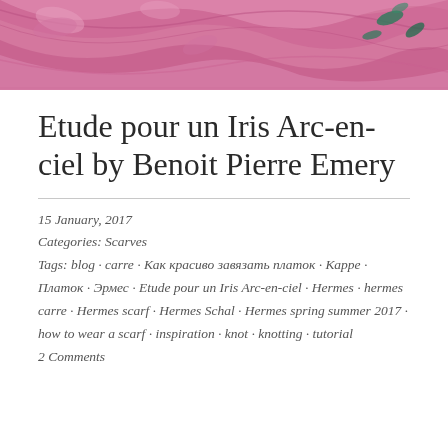[Figure (photo): Close-up photograph of a pink and green Hermès silk scarf with floral iris pattern]
Etude pour un Iris Arc-en-ciel by Benoit Pierre Emery
15 January, 2017
Categories: Scarves
Tags: blog · carre · Как красиво завязать платок · Карре · Платок · Эрмес · Etude pour un Iris Arc-en-ciel · Hermes · hermes carre · Hermes scarf · Hermes Schal · Hermes spring summer 2017 · how to wear a scarf · inspiration · knot · knotting · tutorial
2 Comments